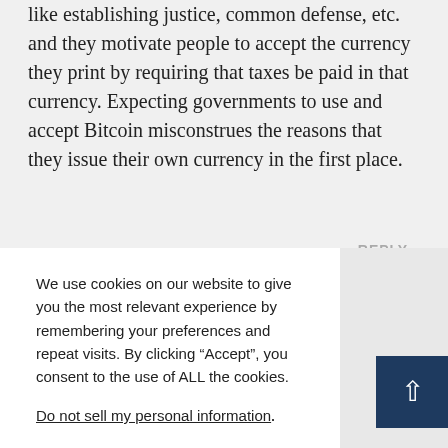like establishing justice, common defense, etc. and they motivate people to accept the currency they print by requiring that taxes be paid in that currency. Expecting governments to use and accept Bitcoin misconstrues the reasons that they issue their own currency in the first place.
We use cookies on our website to give you the most relevant experience by remembering your preferences and repeat visits. By clicking “Accept”, you consent to the use of ALL the cookies.

Do not sell my personal information.
No way. Fiat currency is a policy tool used to help manage bust cycles. Tying your national economy to Bitcoin would be just like using gold for your money—it takes inflation entirely